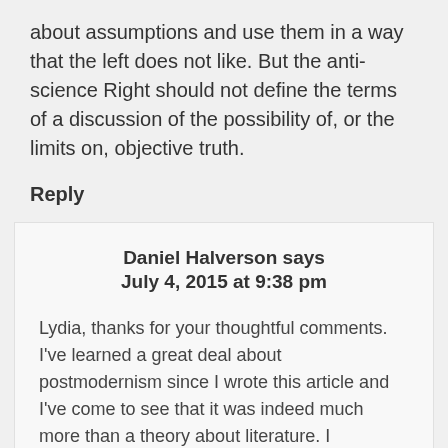about assumptions and use them in a way that the left does not like. But the anti-science Right should not define the terms of a discussion of the possibility of, or the limits on, objective truth.
Reply
Daniel Halverson says July 4, 2015 at 9:38 pm
Lydia, thanks for your thoughtful comments. I've learned a great deal about postmodernism since I wrote this article and I've come to see that it was indeed much more than a theory about literature. I